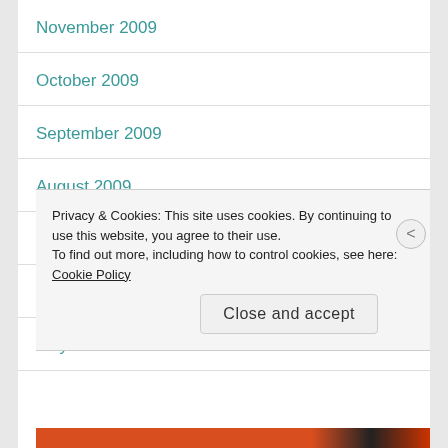November 2009
October 2009
September 2009
August 2009
July 2009
June 2009
May 2009
Privacy & Cookies: This site uses cookies. By continuing to use this website, you agree to their use.
To find out more, including how to control cookies, see here: Cookie Policy
Close and accept